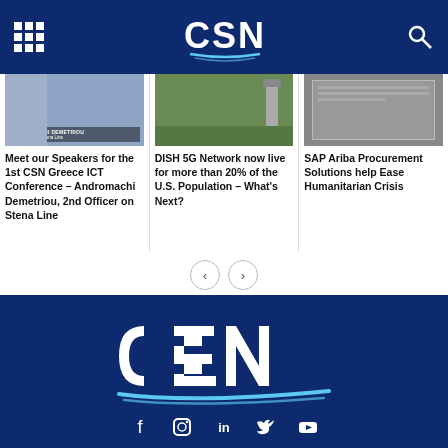CSN
[Figure (photo): Speaker photo - Andromachi Demetriou, 2nd Officer on Stena Line]
Meet our Speakers for the 1st CSN Greece ICT Conference – Andromachi Demetriou, 2nd Officer on Stena Line
[Figure (photo): DISH 5G network tower in outdoor setting]
DISH 5G Network now live for more than 20% of the U.S. Population – What's Next?
[Figure (photo): SAP Ariba Procurement Solutions - humanitarian crisis context]
SAP Ariba Procurement Solutions help Ease Humanitarian Crisis
[Figure (logo): CSN logo large white and blue on dark navy background]
Social icons: Facebook, Instagram, LinkedIn, Twitter, YouTube